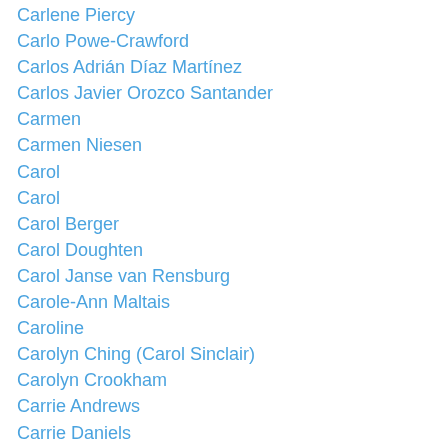Carlene Piercy
Carlo Powe-Crawford
Carlos Adrián Díaz Martínez
Carlos Javier Orozco Santander
Carmen
Carmen Niesen
Carol
Carol
Carol Berger
Carol Doughten
Carol Janse van Rensburg
Carole-Ann Maltais
Caroline
Carolyn Ching (Carol Sinclair)
Carolyn Crookham
Carrie Andrews
Carrie Daniels
Carrie Karlock
Carrie Kellenberger
Carrie Matheson Bonin